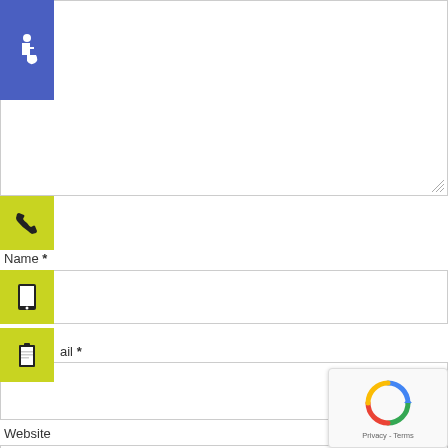[Figure (illustration): Blue square with white wheelchair accessibility icon (ISA symbol)]
[Figure (illustration): Yellow-green square with white telephone/phone handset icon]
Name *
[Figure (illustration): Yellow-green square with black tablet/phone icon]
[Figure (illustration): Yellow-green square with black clipboard icon]
ail *
Website
[Figure (illustration): reCAPTCHA badge with spinning arrows logo and Privacy - Terms text]